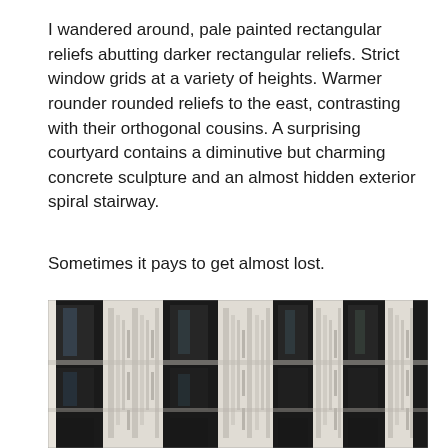I wandered around, pale painted rectangular reliefs abutting darker rectangular reliefs. Strict window grids at a variety of heights. Warmer rounder rounded reliefs to the east, contrasting with their orthogonal cousins. A surprising courtyard contains a diminutive but charming concrete sculpture and an almost hidden exterior spiral stairway.
Sometimes it pays to get almost lost.
[Figure (photo): Photograph of a building facade with alternating white concrete rectangular relief panels and dark narrow window openings arranged in a grid pattern. The concrete panels have vertical stepped geometric grooves and reliefs. Multiple bays are visible across the facade.]